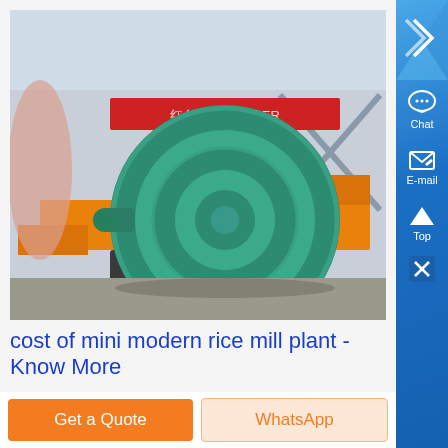[Figure (photo): Industrial rice mill machine — a large green turbine/milling unit on a metal base, photographed in a factory/warehouse setting with orange equipment in the background and a red banner sign.]
cost of mini modern rice mill plant - Know More
Chat
E-mail
Top
Get a Quote
WhatsApp